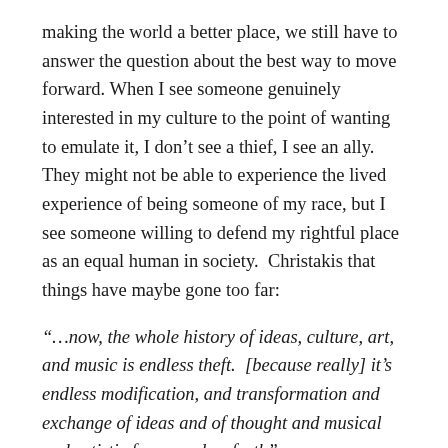making the world a better place, we still have to answer the question about the best way to move forward. When I see someone genuinely interested in my culture to the point of wanting to emulate it, I don't see a thief, I see an ally.  They might not be able to experience the lived experience of being someone of my race, but I see someone willing to defend my rightful place as an equal human in society.  Christakis that things have maybe gone too far:
“…now, the whole history of ideas, culture, art, and music is endless theft.  [because really] it’s endless modification, and transformation and exchange of ideas and of thought and musical and artistic forms and so forth”